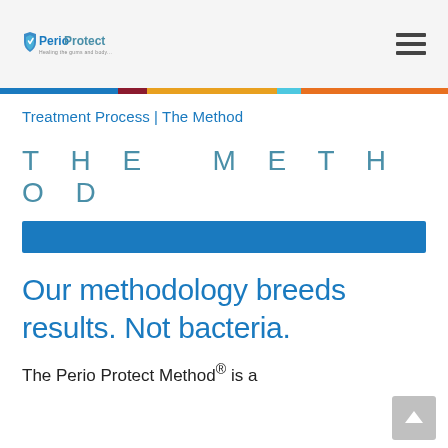PerioProtect — navigation header with hamburger menu
Treatment Process | The Method
THE METHOD
Our methodology breeds results. Not bacteria.
The Perio Protect Method® is a